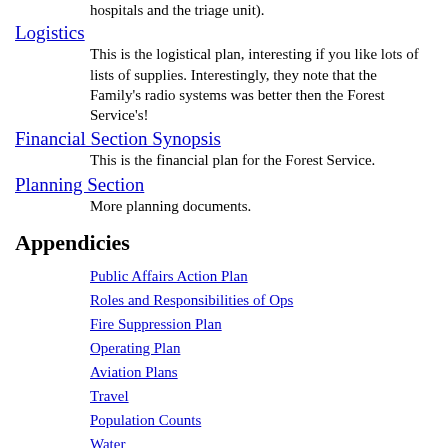hospitals and the triage unit).
Logistics
This is the logistical plan, interesting if you like lots of lists of supplies. Interestingly, they note that the Family's radio systems was better then the Forest Service's!
Financial Section Synopsis
This is the financial plan for the Forest Service.
Planning Section
More planning documents.
Appendicies
Public Affairs Action Plan
Roles and Responsibilities of Ops
Fire Suppression Plan
Operating Plan
Aviation Plans
Travel
Population Counts
Water
For general information about the Rainbow Family and regional events, please first look around the web site. You can find most info you'd want by going back to the top level and searching again.